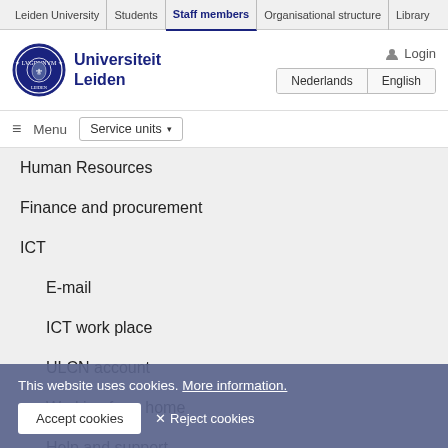Leiden University | Students | Staff members | Organisational structure | Library
[Figure (logo): Universiteit Leiden circular seal/logo in navy blue]
Universiteit Leiden
Login
Nederlands | English
≡ Menu   Service units ▾
Human Resources
Finance and procurement
ICT
E-mail
ICT work place
ULCN account
Working from home
Help and support
This website uses cookies. More information.
Accept cookies   ✕ Reject cookies